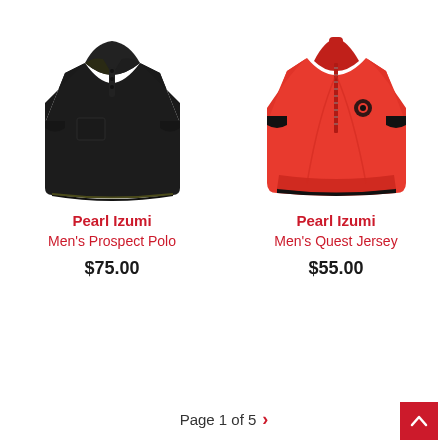[Figure (photo): Black Pearl Izumi Men's Prospect Polo shirt product photo]
Pearl Izumi
Men's Prospect Polo
$75.00
[Figure (photo): Red Pearl Izumi Men's Quest Jersey product photo]
Pearl Izumi
Men's Quest Jersey
$55.00
Page 1 of 5